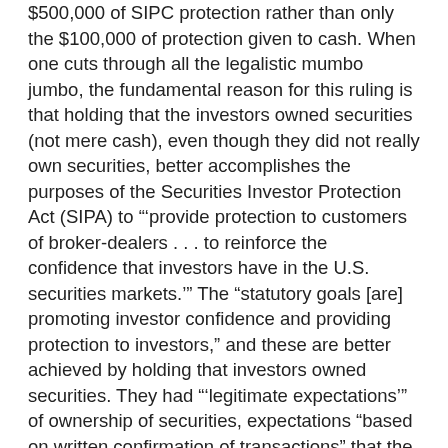$500,000 of SIPC protection rather than only the $100,000 of protection given to cash. When one cuts through all the legalistic mumbo jumbo, the fundamental reason for this ruling is that holding that the investors owned securities (not mere cash), even though they did not really own securities, better accomplishes the purposes of the Securities Investor Protection Act (SIPA) to "'provide protection to customers of broker-dealers . . . to reinforce the confidence that investors have in the U.S. securities markets.'" The "statutory goals [are] promoting investor confidence and providing protection to investors," and these are better achieved by holding that investors owned securities. They had "'legitimate expectations'" of ownership of securities, expectations "based on written confirmation of transactions" that the fraudster sent them," and investor protection and confidence, the goals of SIPA, were best served by honoring their "legitimate expectations," as was urged by the SEC, to which the court deferred.
But when it came to the second issue in the case, the court's tune changed because the mutual funds had never existed. Again the court deferred to the SEC (which agreed with SIPC on this issue) that the holding was that the...